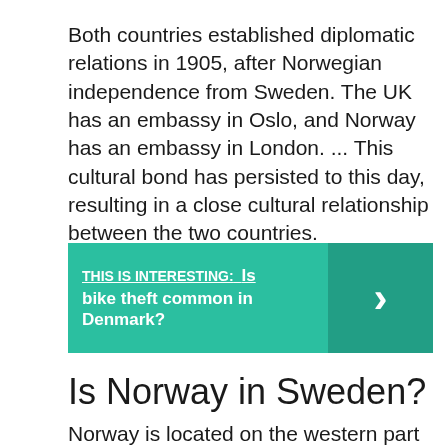Both countries established diplomatic relations in 1905, after Norwegian independence from Sweden. The UK has an embassy in Oslo, and Norway has an embassy in London. ... This cultural bond has persisted to this day, resulting in a close cultural relationship between the two countries.
THIS IS INTERESTING:  Is bike theft common in Denmark?
Is Norway in Sweden?
Norway is located on the western part of the Scandinavian Peninsula in North West Europe. ... Sweden is located on the east